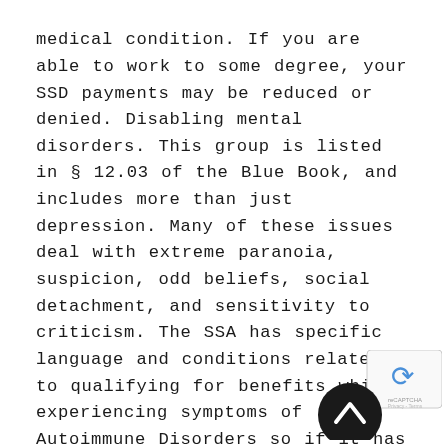medical condition. If you are able to work to some degree, your SSD payments may be reduced or denied. Disabling mental disorders. This group is listed in § 12.03 of the Blue Book, and includes more than just depression. Many of these issues deal with extreme paranoia, suspicion, odd beliefs, social detachment, and sensitivity to criticism. The SSA has specific language and conditions related to qualifying for benefits while experiencing symptoms of Autoimmune Disorders so if it has impacted your ability to work you should seek assistance. How Does My Work History Affect My Disability Application? Anxiety related disorders, 4. One is Social Security Disability and the other is Supplemental Security Income (SSI). Make sure not to limit yourself to notating the ways in which your mental disability has hindered you on the job. SSDI provides monthly income to individuals who
[Figure (logo): reCAPTCHA badge with circular arrow icon and scroll-to-top button overlay]